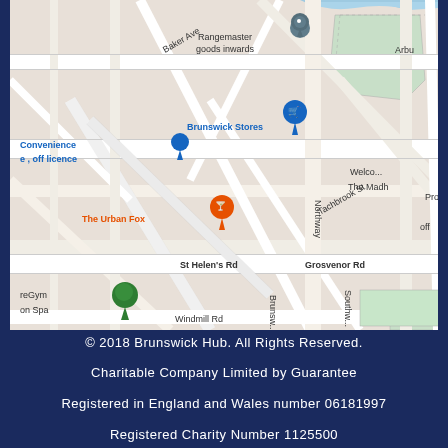[Figure (map): Google Maps screenshot showing area around Brunswick Stores in what appears to be Leamington Spa, UK. Key landmarks include Rangemaster goods inwards, Brunswick Stores, The Urban Fox pub, PureGym on Spa, and street names including Baker Ave, Tachbrook St, Llewellyn Rd, Northway, St Helen's Rd, Grosvenor Rd, Windmill Rd. A green park is visible in the upper right. Map pins visible for Rangemaster (grey), Brunswick Stores (blue), The Urban Fox (orange), and PureGym (green).]
© 2018 Brunswick Hub. All Rights Reserved.
Charitable Company Limited by Guarantee
Registered in England and Wales number 06181997
Registered Charity Number 1125500